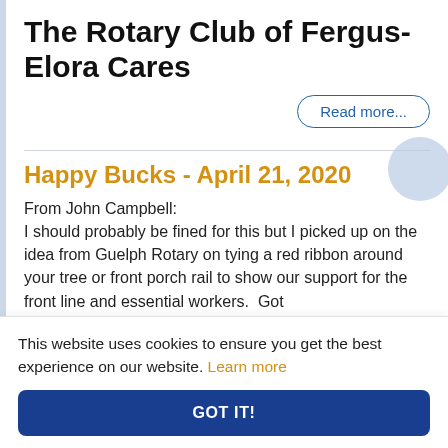The Rotary Club of Fergus-Elora Cares
Read more...
Happy Bucks - April 21, 2020
From John Campbell:
I should probably be fined for this but I picked up on the idea from Guelph Rotary on tying a red ribbon around your tree or front porch rail to show our support for the front line and essential workers.  Got
This website uses cookies to ensure you get the best experience on our website. Learn more
GOT IT!